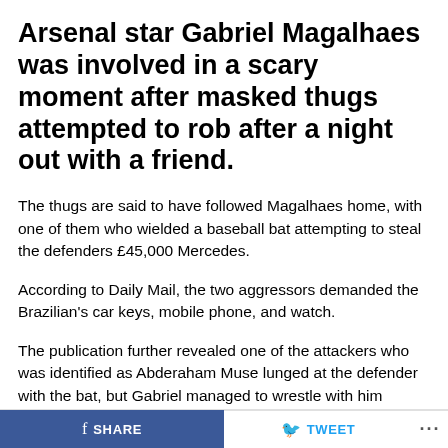Arsenal star Gabriel Magalhaes was involved in a scary moment after masked thugs attempted to rob after a night out with a friend.
The thugs are said to have followed Magalhaes home, with one of them who wielded a baseball bat attempting to steal the defenders £45,000 Mercedes.
According to Daily Mail, the two aggressors demanded the Brazilian's car keys, mobile phone, and watch.
The publication further revealed one of the attackers who was identified as Abderaham Muse lunged at the defender with the bat, but Gabriel managed to wrestle with him before the robbers escaped to take off...
SHARE   TWEET   ···